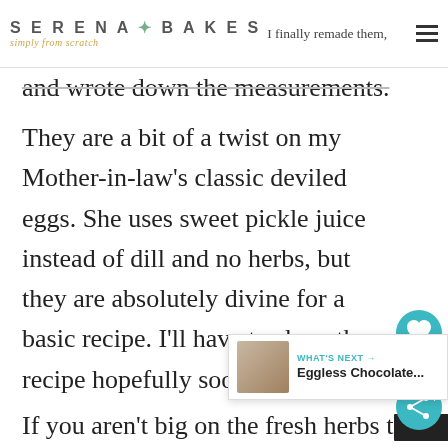SERENA BAKES simply from scratch — I finally remade them,
and wrote down the measurements. They are a bit of a twist on my Mother-in-law's classic deviled eggs. She uses sweet pickle juice instead of dill and no herbs, but they are absolutely divine for a basic recipe. I'll have to share the recipe hopefully sooner then later.
If you aren't big on the fresh herbs t[truncated]